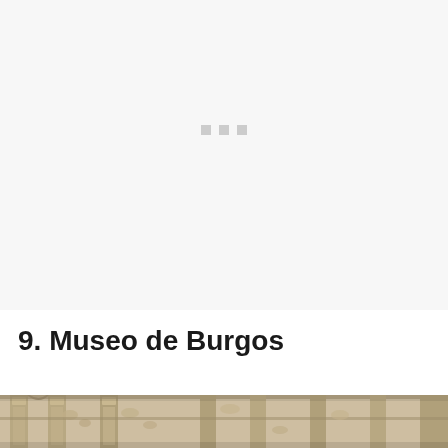[Figure (photo): Large white/light gray placeholder area for an image that has not loaded, with three small gray squares indicating a loading state]
9. Museo de Burgos
[Figure (photo): Bottom portion of a sepia-toned historical photograph showing ornate stone architectural details, likely Gothic or Plateresque carved stonework from the Museo de Burgos]